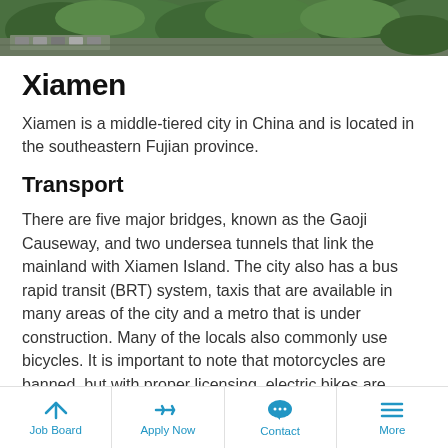[Figure (photo): Aerial photo of Xiamen showing green trees, roads, and parked cars]
Xiamen
Xiamen is a middle-tiered city in China and is located in the southeastern Fujian province.
Transport
There are five major bridges, known as the Gaoji Causeway, and two undersea tunnels that link the mainland with Xiamen Island. The city also has a bus rapid transit (BRT) system, taxis that are available in many areas of the city and a metro that is under construction. Many of the locals also commonly use bicycles. It is important to note that motorcycles are banned, but with proper licensing, electric bikes are allowed.
Job Board | Apply Now | Contact | More